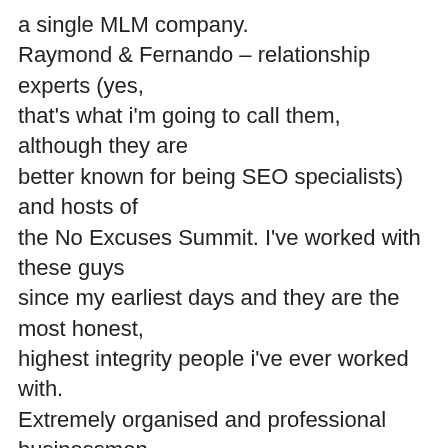a single MLM company. Raymond & Fernando – relationship experts (yes, that's what i'm going to call them, although they are better known for being SEO specialists) and hosts of the No Excuses Summit. I've worked with these guys since my earliest days and they are the most honest, highest integrity people i've ever worked with. Extremely organised and professional businessmen. And of course…myself 🙂 amongst others. The No Excuses event is a 100% success event. They've proven it in small mastermind groups where people went home after a single weekend working with them, generating leads and making sales. Now they want to take it to the next level and make a room full of 500+ people go home with money in the bank. I even had the privilege of instructing on several of the